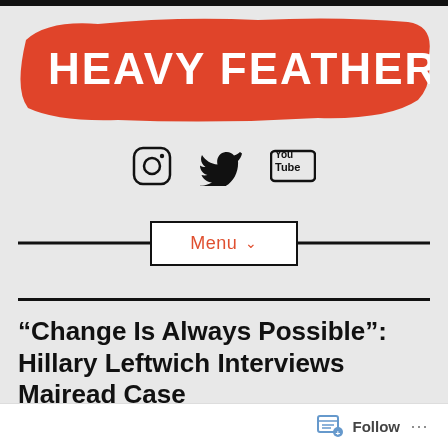[Figure (logo): Heavy Feather Review logo — white bold text on orange brushstroke background]
[Figure (infographic): Social media icons: Instagram, Twitter, YouTube]
Menu ∨
“Change Is Always Possible”: Hillary Leftwich Interviews Mairead Case
Follow ...